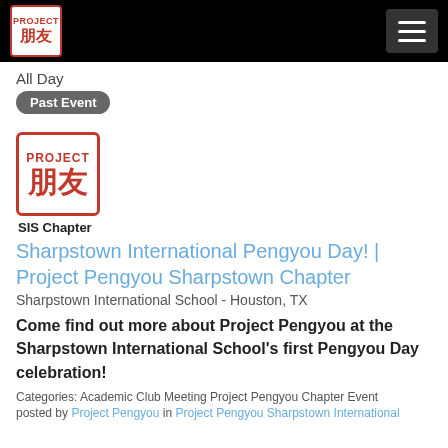[Figure (logo): Project Pengyou logo in navigation bar - red border square with PROJECT and Chinese characters 朋友]
All Day
Past Event
[Figure (logo): Project Pengyou SIS Chapter logo - large red border square with PROJECT and Chinese characters 朋友, with SIS Chapter text below]
Sharpstown International Pengyou Day! | Project Pengyou Sharpstown Chapter
Sharpstown International School - Houston, TX
Come find out more about Project Pengyou at the Sharpstown International School's first Pengyou Day celebration!
Categories: Academic Club Meeting Project Pengyou Chapter Event
posted by Project Pengyou in Project Pengyou Sharpstown International